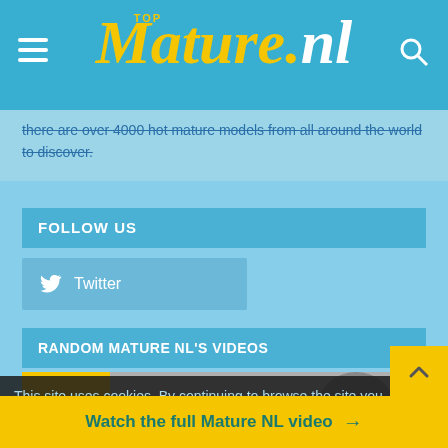TopMature.nl
there are over 4000 hot mature models from all around the world to discover.
FOLLOW US
[Figure (other): Twitter follow button with bird icon]
RANDOM MATURE NL'S VIDEOS
[Figure (photo): Video thumbnail showing a person]
This site uses cookies. By continuing to browse the site you
Watch the full Mature NL video →